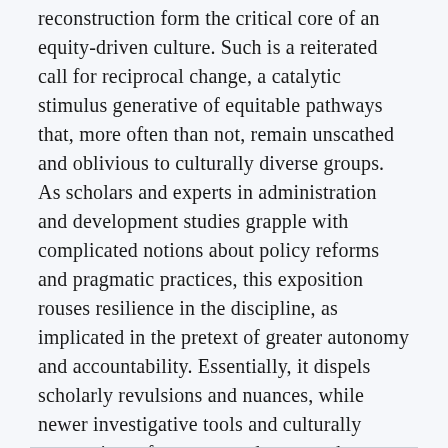reconstruction form the critical core of an equity-driven culture. Such is a reiterated call for reciprocal change, a catalytic stimulus generative of equitable pathways that, more often than not, remain unscathed and oblivious to culturally diverse groups. As scholars and experts in administration and development studies grapple with complicated notions about policy reforms and pragmatic practices, this exposition rouses resilience in the discipline, as implicated in the pretext of greater autonomy and accountability. Essentially, it dispels scholarly revulsions and nuances, while newer investigative tools and culturally responsive reforms are underway to be explored and articulated, respectively.